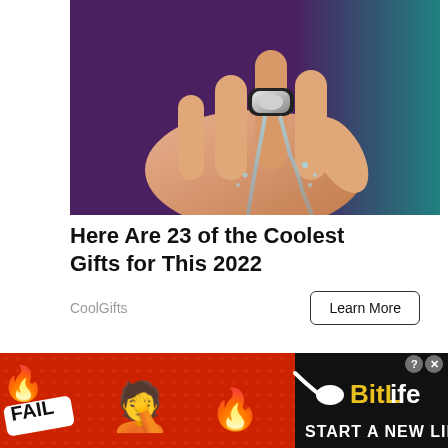[Figure (photo): A hand with a futuristic ring-shaped device worn on the middle finger, with water streaming from the device over the fingers and hand, set against a dark background.]
Here Are 23 of the Coolest Gifts for This 2022
CoolGifts
Learn More
Related articles
[Figure (screenshot): BitLife advertisement banner with red background, FAIL text, facepalm emoji, flame emoji, sperm icon, BitLife logo, and 'START A NEW LIFE' text. Has close (X) and help (?) buttons.]